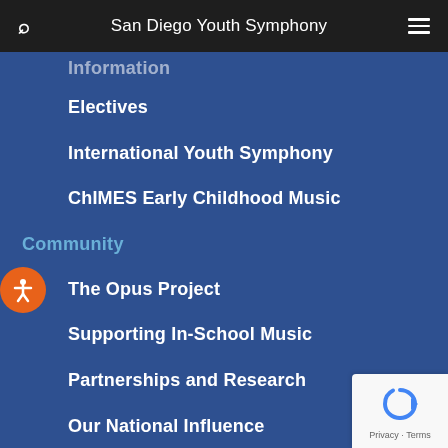San Diego Youth Symphony
Information (partial/cropped)
Electives
International Youth Symphony
ChIMES Early Childhood Music
Community
The Opus Project
Supporting In-School Music
Partnerships and Research
Our National Influence
El Sistema Community
Concerts & Events
View Event Calendar